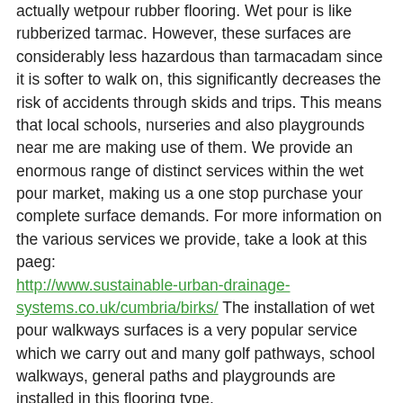actually wetpour rubber flooring. Wet pour is like rubberized tarmac. However, these surfaces are considerably less hazardous than tarmacadam since it is softer to walk on, this significantly decreases the risk of accidents through skids and trips. This means that local schools, nurseries and also playgrounds near me are making use of them. We provide an enormous range of distinct services within the wet pour market, making us a one stop purchase your complete surface demands. For more information on the various services we provide, take a look at this paeg: http://www.sustainable-urban-drainage-systems.co.uk/cumbria/birks/ The installation of wet pour walkways surfaces is a very popular service which we carry out and many golf pathways, school walkways, general paths and playgrounds are installed in this flooring type.
Maintaining Wetpour Surfacing in Birks
Upkeep makes sure that any kind of debris as well as contaminants for the surfacing will be eliminated to stop them from producing issues. If the dirt is well set in, a jet spray service may eliminate tough to attain debris. The wet pour surface is designed to always be permeable, and therefore water can easily pass straight through